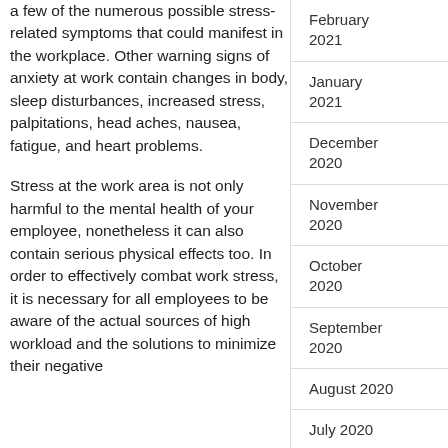a few of the numerous possible stress-related symptoms that could manifest in the workplace. Other warning signs of anxiety at work contain changes in body, sleep disturbances, increased stress, palpitations, head aches, nausea, fatigue, and heart problems.
Stress at the work area is not only harmful to the mental health of your employee, nonetheless it can also contain serious physical effects too. In order to effectively combat work stress, it is necessary for all employees to be aware of the actual sources of high workload and the solutions to minimize their negative
February 2021
January 2021
December 2020
November 2020
October 2020
September 2020
August 2020
July 2020
June 2020